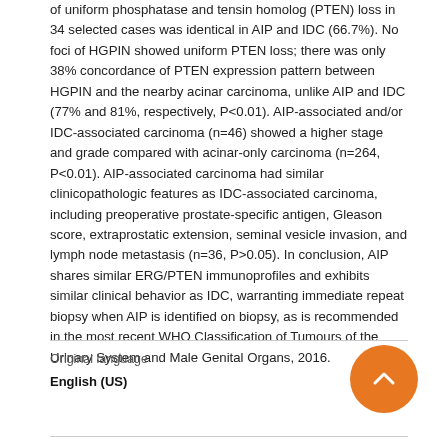of uniform phosphatase and tensin homolog (PTEN) loss in 34 selected cases was identical in AIP and IDC (66.7%). No foci of HGPIN showed uniform PTEN loss; there was only 38% concordance of PTEN expression pattern between HGPIN and the nearby acinar carcinoma, unlike AIP and IDC (77% and 81%, respectively, P<0.01). AIP-associated and/or IDC-associated carcinoma (n=46) showed a higher stage and grade compared with acinar-only carcinoma (n=264, P<0.01). AIP-associated carcinoma had similar clinicopathologic features as IDC-associated carcinoma, including preoperative prostate-specific antigen, Gleason score, extraprostatic extension, seminal vesicle invasion, and lymph node metastasis (n=36, P>0.05). In conclusion, AIP shares similar ERG/PTEN immunoprofiles and exhibits similar clinical behavior as IDC, warranting immediate repeat biopsy when AIP is identified on biopsy, as is recommended in the most recent WHO Classification of Tumours of the Urinary System and Male Genital Organs, 2016.
Original language
English (US)